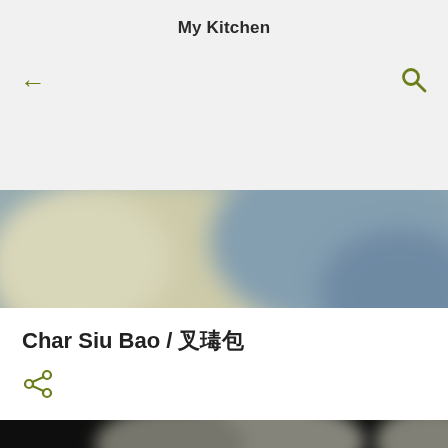My Kitchen
[Figure (photo): Blurred close-up photo of pale dough buns with soft blue-grey and cream tones in the background]
Char Siu Bao / 叉燒包
[Figure (photo): Close-up photo of steamed bao buns on a dark background, partially visible at bottom of page]